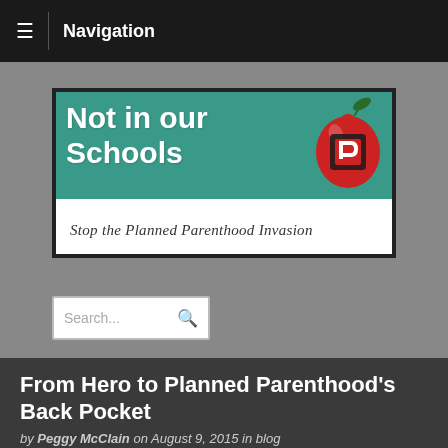Navigation
[Figure (logo): Not in our Schools — Stop the Planned Parenthood Invasion logo banner with green background, white bold text, and a red apple graphic on the right, with white subtitle bar below.]
Search...
From Hero to Planned Parenthood's Back Pocket
by Peggy McClain on August 9, 2015 in blog